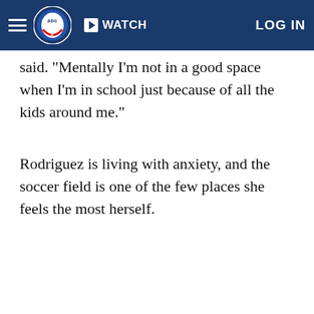abc7 WATCH LOG IN
said. "Mentally I'm not in a good space when I'm in school just because of all the kids around me."
Rodriguez is living with anxiety, and the soccer field is one of the few places she feels the most herself.